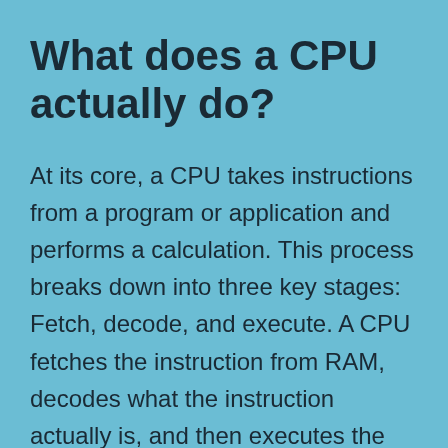What does a CPU actually do?
At its core, a CPU takes instructions from a program or application and performs a calculation. This process breaks down into three key stages: Fetch, decode, and execute. A CPU fetches the instruction from RAM, decodes what the instruction actually is, and then executes the instruction using relevant parts of the CPU. The executed instruction, or calculation, can involve basic arithmetic